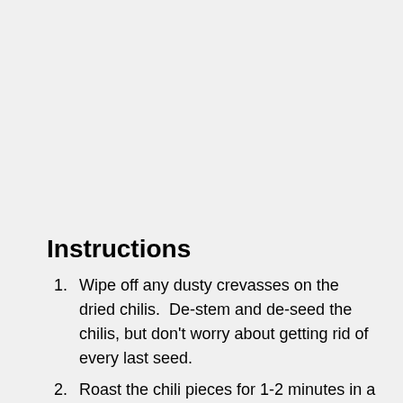Instructions
Wipe off any dusty crevasses on the dried chilis.  De-stem and de-seed the chilis, but don't worry about getting rid of every last seed.
Roast the chili pieces for 1-2 minutes in a 400F oven.  Add them to a bowl and cover them with hot tap water.  Let the chilis reconstitute for 20-30 minutes.  If they float